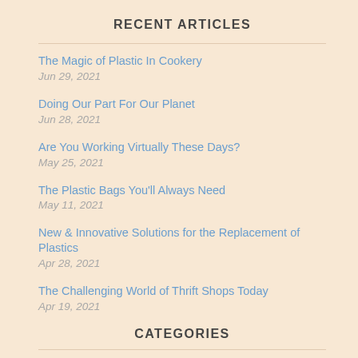RECENT ARTICLES
The Magic of Plastic In Cookery
Jun 29, 2021
Doing Our Part For Our Planet
Jun 28, 2021
Are You Working Virtually These Days?
May 25, 2021
The Plastic Bags You'll Always Need
May 11, 2021
New & Innovative Solutions for the Replacement of Plastics
Apr 28, 2021
The Challenging World of Thrift Shops Today
Apr 19, 2021
CATEGORIES
Keep smell of garbage away
Simplehuman